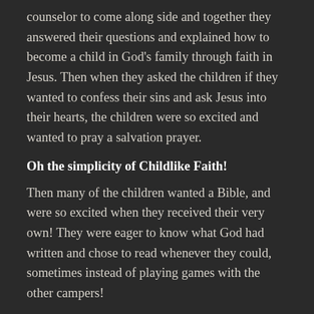counselor to come along side and together they answered their questions and explained how to become a child in God's family through faith in Jesus. Then when they asked the children if they wanted to confess their sins and ask Jesus into their hearts, the children were so excited and wanted to pray a salvation prayer.
Oh the simplicity of Childlike Faith!
Then many of the children wanted a Bible, and were so excited when they received their very own! They were eager to know what God had written and chose to read whenever they could, sometimes instead of playing games with the other campers!
Oh the simplicity of Childlike Trust!
While the staff were going about their days teaching